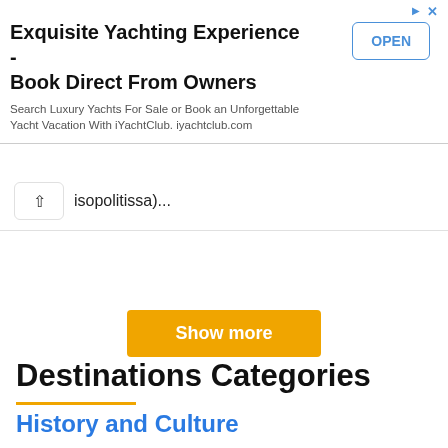[Figure (other): Advertisement banner for iYachtClub with title 'Exquisite Yachting Experience - Book Direct From Owners', subtitle 'Search Luxury Yachts For Sale or Book an Unforgettable Yacht Vacation With iYachtClub. iyachtclub.com', and an OPEN button]
isopolitissa)...
Show more
Destinations Categories
History and Culture